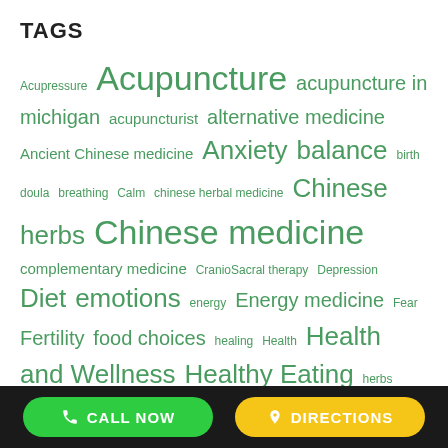TAGS
Acupressure Acupuncture acupuncture in michigan acupuncturist alternative medicine Ancient Chinese medicine Anxiety balance birth doula breathing Calm chinese herbal medicine Chinese herbs Chinese medicine complementary medicine CranioSacral therapy Depression Diet emotions energy Energy medicine Fear Fertility food choices healing Health Health and Wellness Healthy Eating herbs Holistic Infertility integrative medicine meditation Michigan Associates of Acupuncture and Integrative Medicine nutrition Qi recipe stress TCM
CALL NOW   DIRECTIONS